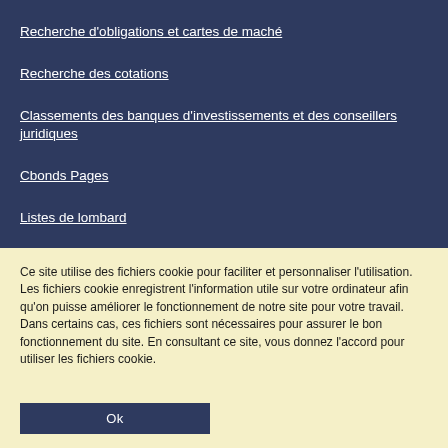Recherche d'obligations et cartes de maché
Recherche des cotations
Classements des banques d'investissements et des conseillers juridiques
Cbonds Pages
Listes de lombard
Ce site utilise des fichiers cookie pour faciliter et personnaliser l'utilisation. Les fichiers cookie enregistrent l'information utile sur votre ordinateur afin qu'on puisse améliorer le fonctionnement de notre site pour votre travail. Dans certains cas, ces fichiers sont nécessaires pour assurer le bon fonctionnement du site. En consultant ce site, vous donnez l'accord pour utiliser les fichiers cookie.
Ok